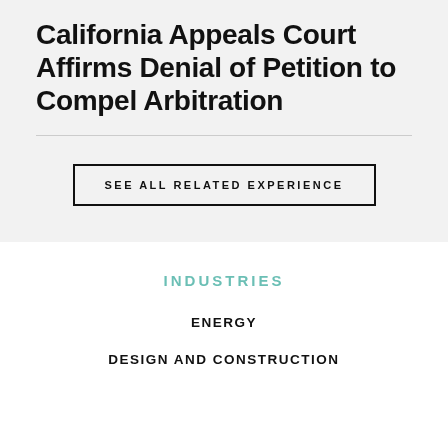California Appeals Court Affirms Denial of Petition to Compel Arbitration
SEE ALL RELATED EXPERIENCE
INDUSTRIES
ENERGY
DESIGN AND CONSTRUCTION